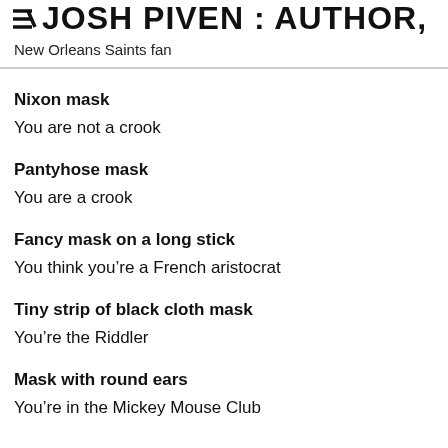JOSH PIVEN : AUTHOR,
New Orleans Saints fan
Nixon mask
You are not a crook
Pantyhose mask
You are a crook
Fancy mask on a long stick
You think you’re a French aristocrat
Tiny strip of black cloth mask
You’re the Riddler
Mask with round ears
You’re in the Mickey Mouse Club